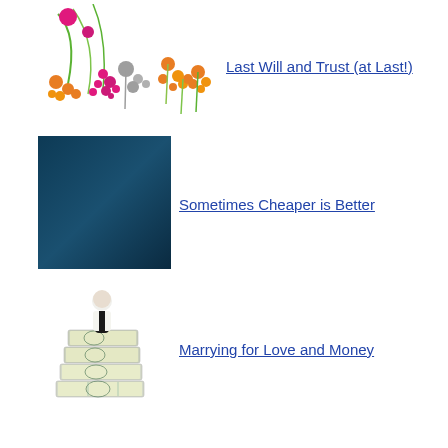Last Will and Trust (at Last!)
Sometimes Cheaper is Better
Marrying for Love and Money